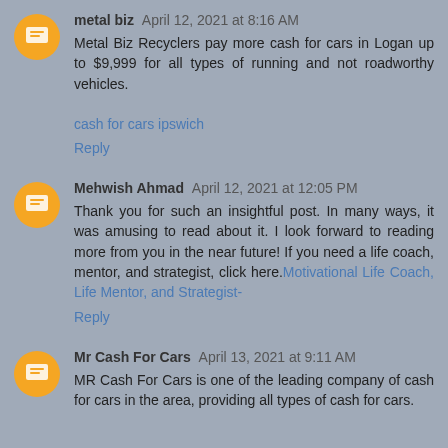metal biz  April 12, 2021 at 8:16 AM
Metal Biz Recyclers pay more cash for cars in Logan up to $9,999 for all types of running and not roadworthy vehicles.
cash for cars ipswich
Reply
Mehwish Ahmad  April 12, 2021 at 12:05 PM
Thank you for such an insightful post. In many ways, it was amusing to read about it. I look forward to reading more from you in the near future! If you need a life coach, mentor, and strategist, click here.Motivational Life Coach, Life Mentor, and Strategist-
Reply
Mr Cash For Cars  April 13, 2021 at 9:11 AM
MR Cash For Cars is one of the leading company of cash for cars in the area, providing all types of cash for cars.